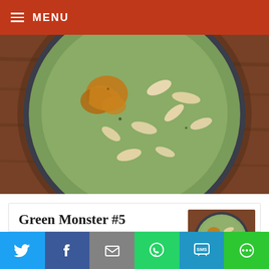MENU
[Figure (photo): Top-down view of a green smoothie bowl with oats and honey/jam topping in a bowl on a wooden surface]
Green Monster #5
servings: 2 SERVINGS
prep time: 10 MINS
total time: 10 MINS
[Figure (photo): Smaller thumbnail of the same green smoothie bowl]
Social share bar: Twitter, Facebook, Email, WhatsApp, SMS, More